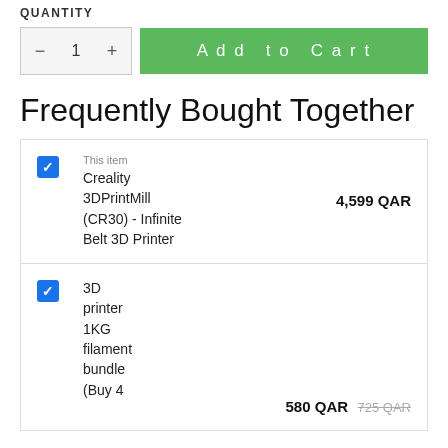QUANTITY
[Figure (screenshot): Quantity selector with minus button, number 1, plus button, and green Add to Cart button]
Frequently Bought Together
|  | Item | Price |
| --- | --- | --- |
| [checkbox] | This item
Creality 3DPrintMill (CR30) - Infinite Belt 3D Printer | 4,599 QAR |
| [checkbox] | 3D printer 1KG filament bundle (Buy 4 | 580 QAR  725 QAR |